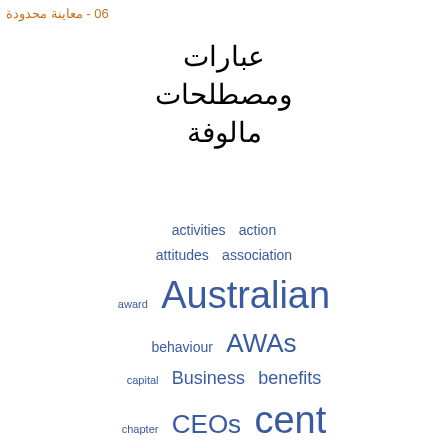06 - معاينة محدودة
عبارات ومصطلحات مالوفة
[Figure (other): Word cloud in blue showing English terms: activities, action, attitudes, association, award, Australian, behaviour, AWAs, capital, Business, benefits, chapter, CEOs, cent, collective, Coal, collective, agreements, collectivism, bargaining, cooperative, corporations, culture, covered, countries, delegates, decline, develop, Department]